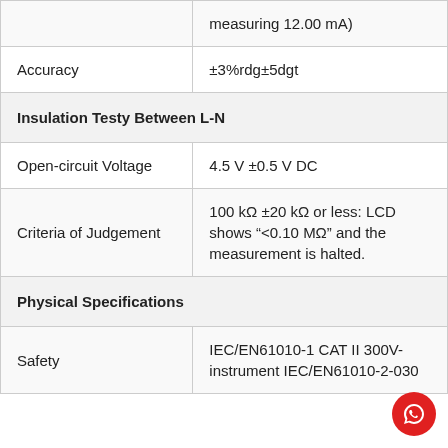| Parameter | Value |
| --- | --- |
|  | measuring 12.00 mA) |
| Accuracy | ±3%rdg±5dgt |
| Insulation Testy Between L-N |  |
| Open-circuit Voltage | 4.5 V ±0.5 V DC |
| Criteria of Judgement | 100 kΩ ±20 kΩ or less: LCD shows "<0.10 MΩ" and the measurement is halted. |
| Physical Specifications |  |
| Safety | IEC/EN61010-1 CAT II 300V-instrument IEC/EN61010-2-030 |